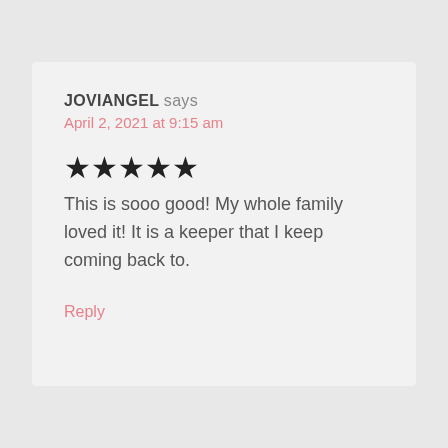JOVIANGEL says
April 2, 2021 at 9:15 am
★★★★★
This is sooo good! My whole family loved it! It is a keeper that I keep coming back to.
Reply